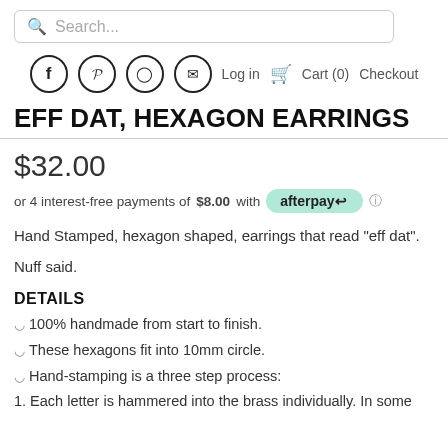Search...
Facebook Pinterest Instagram Email Log in Cart (0) Checkout
EFF DAT, HEXAGON EARRINGS
$32.00
or 4 interest-free payments of $8.00 with afterpay
Hand Stamped, hexagon shaped, earrings that read "eff dat".
Nuff said.
DETAILS
100% handmade from start to finish.
These hexagons fit into 10mm circle.
Hand-stamping is a three step process:
1. Each letter is hammered into the brass individually. In some